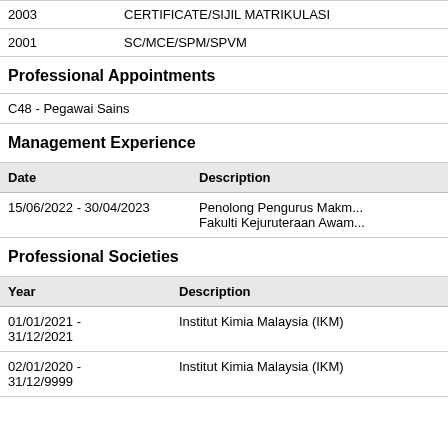| Year | Qualification |
| --- | --- |
| 2003 | CERTIFICATE/SIJIL MATRIKULASI |
| 2001 | SC/MCE/SPM/SPVM |
Professional Appointments
| C48 - Pegawai Sains |
Management Experience
| Date | Description |
| --- | --- |
| 15/06/2022 - 30/04/2023 | Penolong Pengurus Makm... Fakulti Kejuruteraan Awam... |
Professional Societies
| Year | Description |
| --- | --- |
| 01/01/2021 -
31/12/2021 | Institut Kimia Malaysia (IKM) |
| 02/01/2020 -
31/12/9999 | Institut Kimia Malaysia (IKM) |